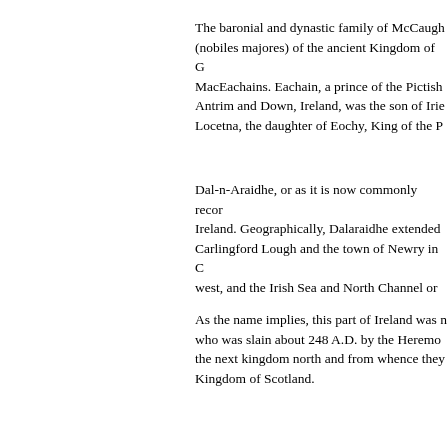The baronial and dynastic family of McCaugh (nobiles majores) of the ancient Kingdom of G MacEachains. Eachain, a prince of the Pictish Antrim and Down, Ireland, was the son of Irie Locetna, the daughter of Eochy, King of the P
Dal-n-Araidhe, or as it is now commonly reco Ireland. Geographically, Dalaraidhe extended Carlingford Lough and the town of Newry in C west, and the Irish Sea and North Channel or
As the name implies, this part of Ireland was who was slain about 248 A.D. by the Heremo the next kingdom north and from whence they Kingdom of Scotland.
The tribal name is still represented in the anci in County Down, the Gaelic name of which is contracted to Ivagh. There are many more pla name EACH which is record in English as AU place name must be judged on its own merits imply that the word Each has the same signifi suffix. Eachain in itself is in reality a tribal des Eachuinn and anciently Eqo-donno-s, meanin or Chief of the Horse Tribe; the horse, in Gae tribal totem stems from very early when most totem (hereditary emblem) which, in many ins of the leading family of the tribe.
The A[...]